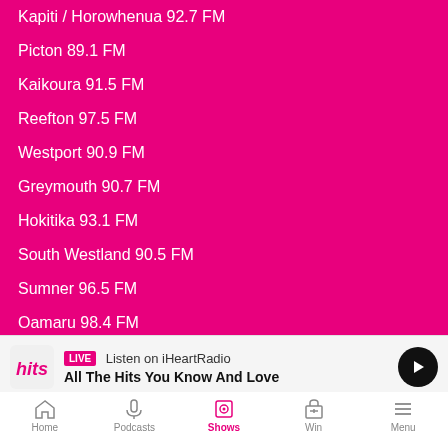Kapiti / Horowhenua 92.7 FM
Picton 89.1 FM
Kaikoura 91.5 FM
Reefton 97.5 FM
Westport 90.9 FM
Greymouth 90.7 FM
Hokitika 93.1 FM
South Westland 90.5 FM
Sumner 96.5 FM
Oamaru 98.4 FM
Alexandra 99.9 FM
Queenstown 90.4 FM
Wanaka 96.2 FM
LIVE Listen on iHeartRadio
All The Hits You Know And Love
Home  Podcasts  Shows  Win  Menu